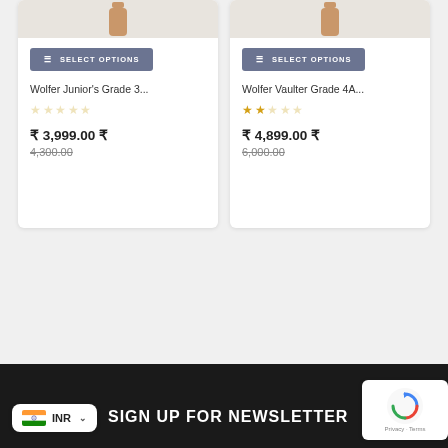[Figure (illustration): Product card with bottle/cap icon for Wolfer Junior's Grade 3 product, truncated]
SELECT OPTIONS
Wolfer Junior's Grade 3...
★☆☆☆☆ (0 stars)
₹ 3,999.00 ₹ 4,300.00
[Figure (illustration): Product card with bottle/cap icon for Wolfer Vaulter Grade 4A product, truncated]
SELECT OPTIONS
Wolfer Vaulter Grade 4A...
★★☆☆☆ (2 stars)
₹ 4,899.00 ₹ 6,000.00
INR SIGN UP FOR NEWSLETTER Privacy · Terms